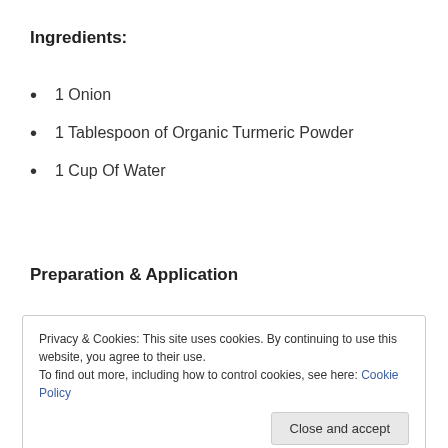Ingredients:
1 Onion
1 Tablespoon of Organic Turmeric Powder
1 Cup Of Water
Preparation & Application
Privacy & Cookies: This site uses cookies. By continuing to use this website, you agree to their use.
To find out more, including how to control cookies, see here: Cookie Policy